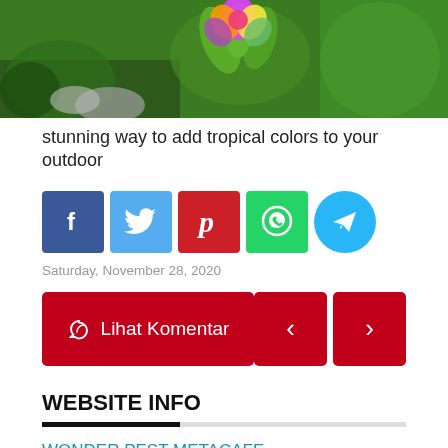[Figure (photo): Tropical garden photo showing colorful bromeliad flower with green plants and grass]
stunning way to add tropical colors to your outdoor
[Figure (infographic): Social media share buttons: Facebook, Twitter, Pinterest, WhatsApp, Telegram]
Saturday, November 28, 2020
[Figure (infographic): Lihat Komentar button and navigation left/right arrow buttons]
WEBSITE INFO
WONDER PEST METACAFE